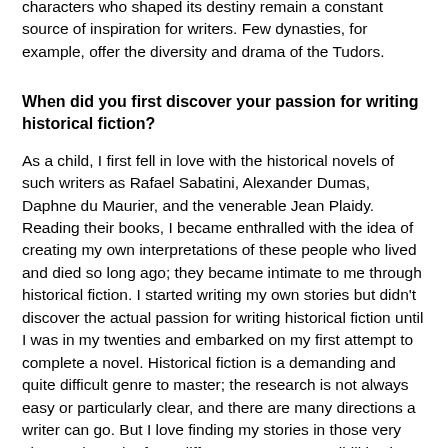characters who shaped its destiny remain a constant source of inspiration for writers. Few dynasties, for example, offer the diversity and drama of the Tudors.
When did you first discover your passion for writing historical fiction?
As a child, I first fell in love with the historical novels of such writers as Rafael Sabatini, Alexander Dumas, Daphne du Maurier, and the venerable Jean Plaidy. Reading their books, I became enthralled with the idea of creating my own interpretations of these people who lived and died so long ago; they became intimate to me through historical fiction. I started writing my own stories but didn't discover the actual passion for writing historical fiction until I was in my twenties and embarked on my first attempt to complete a novel. Historical fiction is a demanding and quite difficult genre to master; the research is not always easy or particularly clear, and there are many directions a writer can go. But I love finding my stories in those very places where the facts differ, to excavate possibilities in the opaque corners of history.